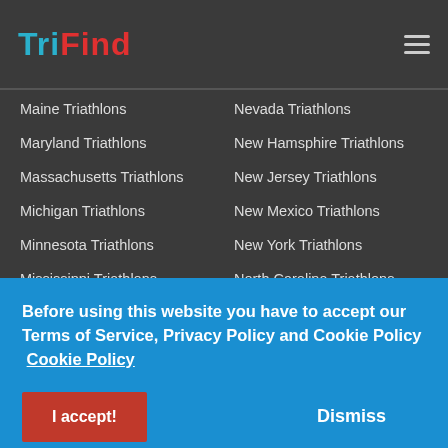TriFind
Maine Triathlons
Nevada Triathlons
Maryland Triathlons
New Hamsphire Triathlons
Massachusetts Triathlons
New Jersey Triathlons
Michigan Triathlons
New Mexico Triathlons
Minnesota Triathlons
New York Triathlons
Mississippi Triathlons
North Carolina Triathlons
Missouri Triathlons
North Dakota Triathlons
Before using this website you have to accept our Terms of Service, Privacy Policy and Cookie Policy  Cookie Policy
South Dakota Triathlons
Wisconsin Triathlons